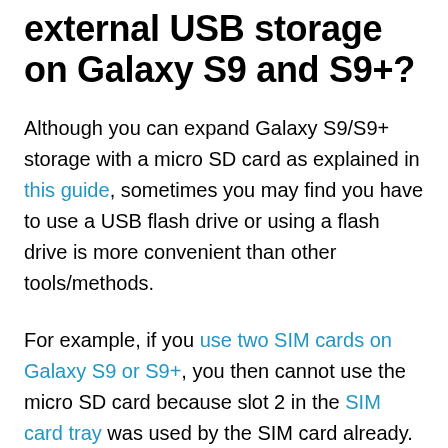external USB storage on Galaxy S9 and S9+?
Although you can expand Galaxy S9/S9+ storage with a micro SD card as explained in this guide, sometimes you may find you have to use a USB flash drive or using a flash drive is more convenient than other tools/methods.
For example, if you use two SIM cards on Galaxy S9 or S9+, you then cannot use the micro SD card because slot 2 in the SIM card tray was used by the SIM card already.